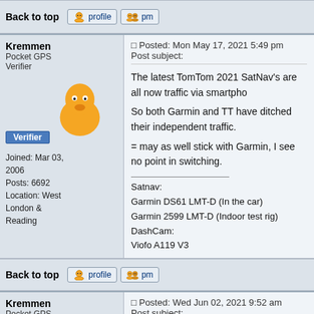Back to top | profile | pm
Kremmen
Pocket GPS Verifier
Verifier
Joined: Mar 03, 2006
Posts: 6692
Location: West London & Reading
Posted: Mon May 17, 2021 5:49 pm   Post subject:
The latest TomTom 2021 SatNav's are all now traffic via smartpho
So both Garmin and TT have ditched their independent traffic.
= may as well stick with Garmin, I see no point in switching.
Satnav:
Garmin DS61 LMT-D (In the car)
Garmin 2599 LMT-D (Indoor test rig)
DashCam:
Viofo A119 V3
Back to top | profile | pm
Kremmen
Pocket GPS Verifier
Verifier
Posted: Wed Jun 02, 2021 9:52 am   Post subject:
Don't forget - end of this month, Digital traffic ends and we are all
Satnav:
Garmin DS61 LMT-D (In the car)
Garmin 2599 LMT-D (Indoor test rig)